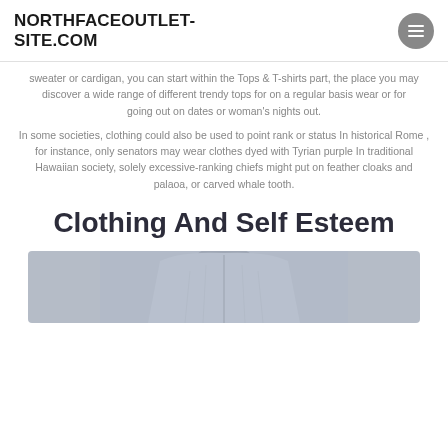NORTHFACEOUTLET-SITE.COM
sweater or cardigan, you can start within the Tops & T-shirts part, the place you may discover a wide range of different trendy tops for on a regular basis wear or for going out on dates or woman's nights out.
In some societies, clothing could also be used to point rank or status In historical Rome , for instance, only senators may wear clothes dyed with Tyrian purple In traditional Hawaiian society, solely excessive-ranking chiefs might put on feather cloaks and palaoa, or carved whale tooth.
Clothing And Self Esteem
[Figure (photo): Partial view of a grey/blue clothing item, appears to be a fleece or similar garment, shown from below cropped at the bottom of the page]